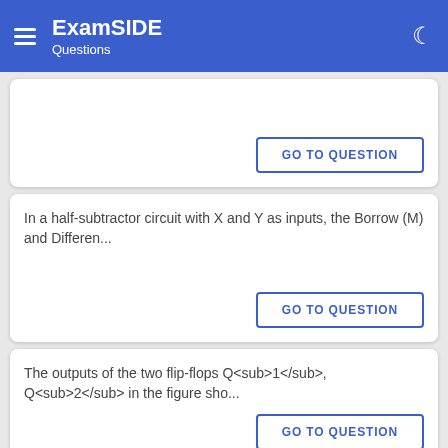ExamSIDE Questions
GO TO QUESTION
In a half-subtractor circuit with X and Y as inputs, the Borrow (M) and Differen...
GO TO QUESTION
The outputs of the two flip-flops Q<sub>1</sub>, Q<sub>2</sub> in the figure sho...
GO TO QUESTION